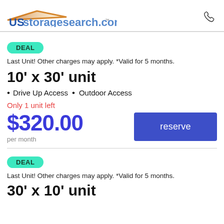USstoragesearch.com™
DEAL
Last Unit! Other charges may apply. *Valid for 5 months.
10' x 30' unit
Drive Up Access • Outdoor Access
Only 1 unit left
$320.00
per month
reserve
DEAL
Last Unit! Other charges may apply. *Valid for 5 months.
30' x 10' unit